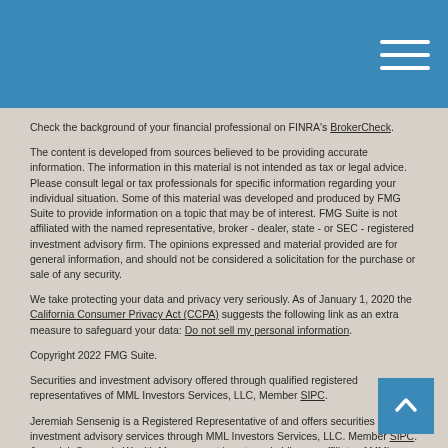Check the background of your financial professional on FINRA's BrokerCheck.
The content is developed from sources believed to be providing accurate information. The information in this material is not intended as tax or legal advice. Please consult legal or tax professionals for specific information regarding your individual situation. Some of this material was developed and produced by FMG Suite to provide information on a topic that may be of interest. FMG Suite is not affiliated with the named representative, broker - dealer, state - or SEC - registered investment advisory firm. The opinions expressed and material provided are for general information, and should not be considered a solicitation for the purchase or sale of any security.
We take protecting your data and privacy very seriously. As of January 1, 2020 the California Consumer Privacy Act (CCPA) suggests the following link as an extra measure to safeguard your data: Do not sell my personal information.
Copyright 2022 FMG Suite.
Securities and investment advisory offered through qualified registered representatives of MML Investors Services, LLC, Member SIPC.
Jeremiah Sensenig is a Registered Representative of and offers securities and investment advisory services through MML Investors Services, LLC. Member SIPC. Jeremiah Sensenig Wealth Management is not a subsidiary or affiliate of MML Investors Services, LLC, or its affiliated companies. Supervisory Office: 100 Sterling